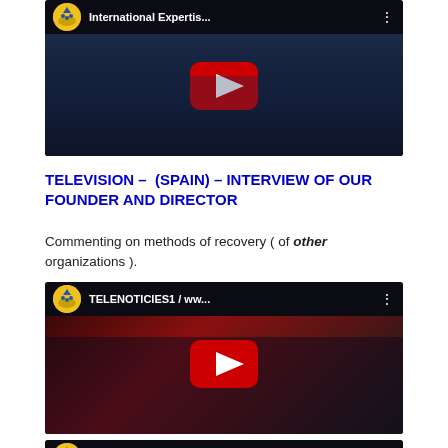[Figure (screenshot): YouTube video thumbnail showing 'International Expertis...' with play button overlay and organization logo avatar]
TELEVISION – (SPAIN) – INTERVIEW OF OUR FOUNDER AND DIRECTOR
Commenting on methods of recovery ( of other organizations ).
[Figure (screenshot): YouTube video thumbnail showing 'TELENOTICIES1 / www...' with play button overlay and organization logo avatar]
[Figure (screenshot): YouTube video thumbnail showing 'TELENOTICIES...' with organization logo avatar, partially visible at bottom]